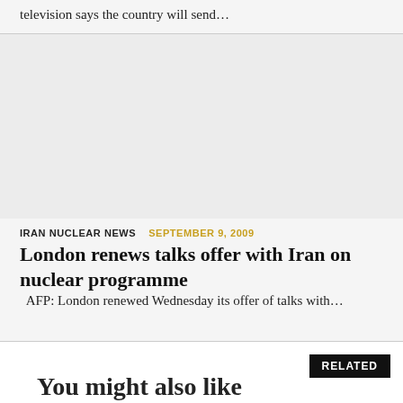television says the country will send…
[Figure (other): Advertisement / blank gray area]
IRAN NUCLEAR NEWS   SEPTEMBER 9, 2009
London renews talks offer with Iran on nuclear programme
AFP: London renewed Wednesday its offer of talks with…
You might also like
RELATED